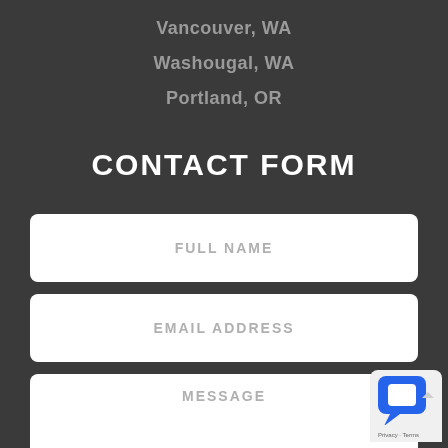Vancouver, WA
Washougal, WA
Portland, OR
CONTACT FORM
FULL NAME
EMAIL ADDRESS
MESSAGE
[Figure (screenshot): Chat widget icon in bottom right corner]